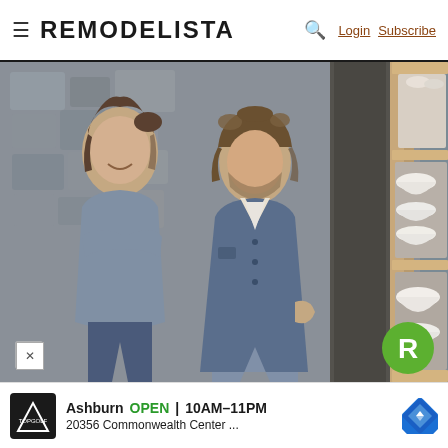≡  REMODELISTA  🔍  Login  Subscribe
[Figure (photo): Two people (a woman with arms crossed smiling on the left, and a man in a blue denim jacket on the right) standing in front of a stone wall, next to a wooden shelving unit filled with white ceramic bowls and dishes.]
Ashburn  OPEN  10AM–11PM  20356 Commonwealth Center ...